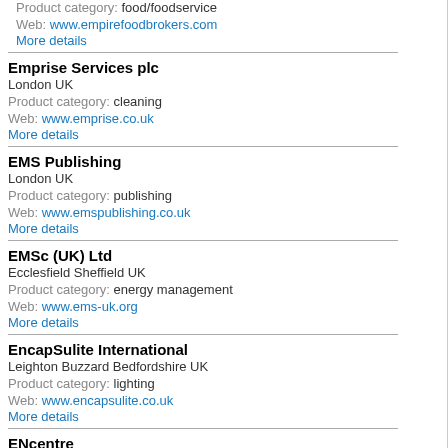Product category: food/foodservice
Web: www.empirefoodbrokers.com
More details
Emprise Services plc
London UK
Product category: cleaning
Web: www.emprise.co.uk
More details
EMS Publishing
London UK
Product category: publishing
Web: www.emspublishing.co.uk
More details
EMSc (UK) Ltd
Ecclesfield Sheffield UK
Product category: energy management
Web: www.ems-uk.org
More details
EncapSulite International
Leighton Buzzard Bedfordshire UK
Product category: lighting
Web: www.encapsulite.co.uk
More details
ENcentre